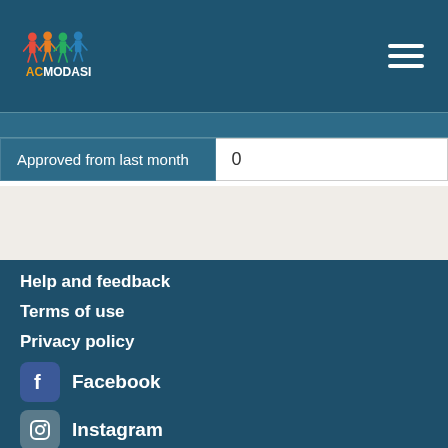[Figure (logo): Acmodasi logo with colorful figures and text]
| Approved from last month | 0 |
Help and feedback
Terms of use
Privacy policy
Facebook
Instagram